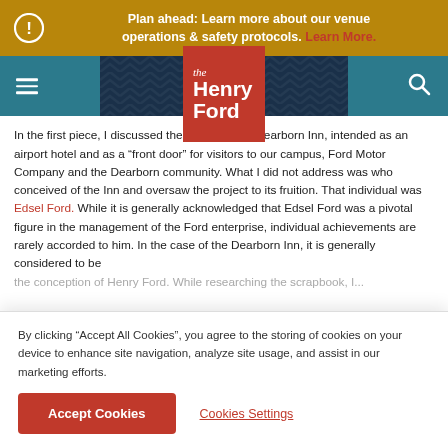Plan ahead: Learn more about our venue operations & safety protocols. Learn More.
[Figure (logo): The Henry Ford museum logo - orange/red square with 'the Henry Ford' text in white]
In the first piece, I discussed the nature of the Dearborn Inn, intended as an airport hotel and as a “front door” for visitors to our campus, Ford Motor Company and the Dearborn community. What I did not address was who conceived of the Inn and oversaw the project to its fruition. That individual was Edsel Ford. While it is generally acknowledged that Edsel Ford was a pivotal figure in the management of the Ford enterprise, individual achievements are rarely accorded to him. In the case of the Dearborn Inn, it is generally considered to be the conception of Henry Ford. While researching the scrapbook, I...
By clicking “Accept All Cookies”, you agree to the storing of cookies on your device to enhance site navigation, analyze site usage, and assist in our marketing efforts.